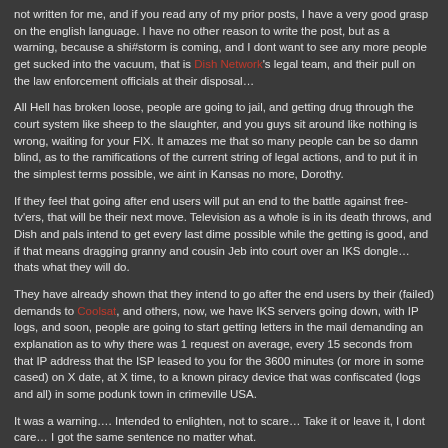not written for me, and if you read any of my prior posts, I have a very good grasp on the english language. I have no other reason to write the post, but as a warning, because a shi#storm is coming, and I dont want to see any more people get sucked into the vacuum, that is Dish Network's legal team, and their pull on the law enforcement officials at their disposal…
All Hell has broken loose, people are going to jail, and getting drug through the court system like sheep to the slaughter, and you guys sit around like nothing is wrong, waiting for your FIX. It amazes me that so many people can be so damn blind, as to the ramifications of the current string of legal actions, and to put it in the simplest terms possible, we aint in Kansas no more, Dorothy.
If they feel that going after end users will put an end to the battle against free-tv'ers, that will be their next move. Television as a whole is in its death throws, and Dish and pals intend to get every last dime possible while the getting is good, and if that means dragging granny and cousin Jeb into court over an IKS dongle… thats what they will do.
They have already shown that they intend to go after the end users by their (failed) demands to Coolsat, and others, now, we have IKS servers going down, with IP logs, and soon, people are going to start getting letters in the mail demanding an explanation as to why there was 1 request on average, every 15 seconds from that IP address that the ISP leased to you for the 3600 minutes (or more in some cased) on X date, at X time, to a known piracy device that was confiscated (logs and all) in some podunk town in crimeville USA.
It was a warning…. Intended to enlighten, not to scare… Take it or leave it, I dont care… I got the same sentence no matter what.